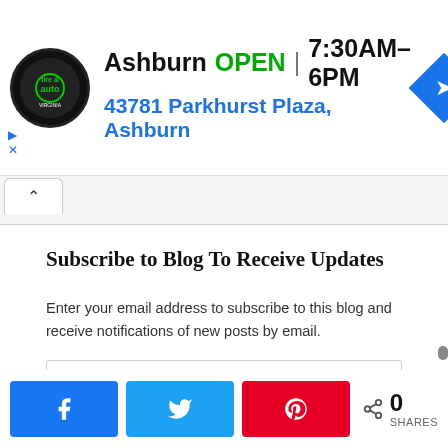[Figure (screenshot): Advertisement banner for a Virginia Tire & Auto shop in Ashburn. Shows logo on left, text 'Ashburn OPEN | 7:30AM–6PM' and '43781 Parkhurst Plaza, Ashburn' in the center, and a blue directional arrow icon on the right.]
Subscribe to Blog To Receive Updates
Enter your email address to subscribe to this blog and receive notifications of new posts by email.
Email Address
Subscribe
[Figure (screenshot): Social share buttons: Facebook (blue), Twitter (cyan), Pinterest (red), and share count showing 0 SHARES]